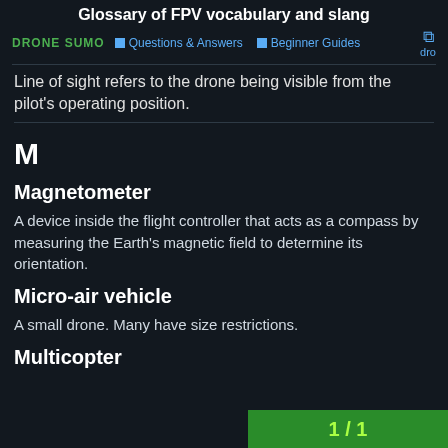Glossary of FPV vocabulary and slang
DRONE SUMO  Questions & Answers  Beginner Guides  dro
Line of sight refers to the drone being visible from the pilot's operating position.
M
Magnetometer
A device inside the flight controller that acts as a compass by measuring the Earth's magnetic field to determine its orientation.
Micro-air vehicle
A small drone. Many have size restrictions.
Multicopter
1 / 1